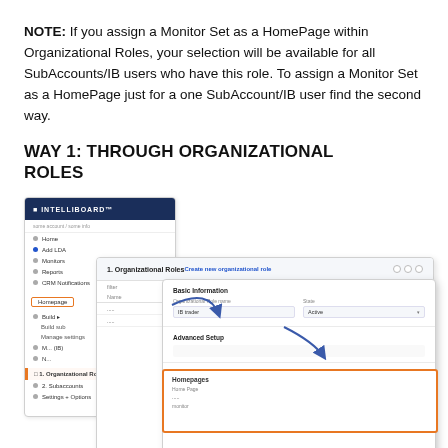NOTE: If you assign a Monitor Set as a HomePage within Organizational Roles, your selection will be available for all SubAccounts/IB users who have this role. To assign a Monitor Set as a HomePage just for a one SubAccount/IB user find the second way.
WAY 1: THROUGH ORGANIZATIONAL ROLES
[Figure (screenshot): Screenshot of a web application interface showing a sidebar navigation on the left with 'Organizational Roles' highlighted in an orange box, and a main panel showing an organizational roles table. An inner detail panel shows role information fields. An orange-bordered section at the bottom shows a 'Homepages' configuration area. Curved arrows indicate the navigation flow.]